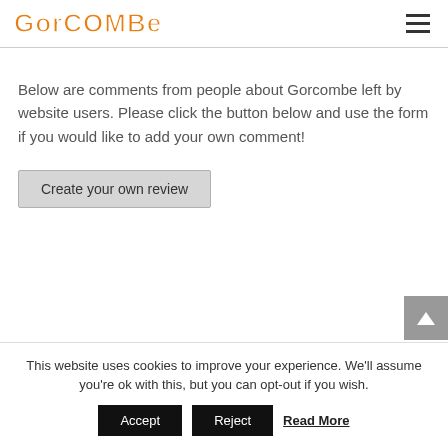Gorcombe
Below are comments from people about Gorcombe left by website users. Please click the button below and use the form if you would like to add your own comment!
Create your own review
This website uses cookies to improve your experience. We'll assume you're ok with this, but you can opt-out if you wish.
Accept  Reject  Read More